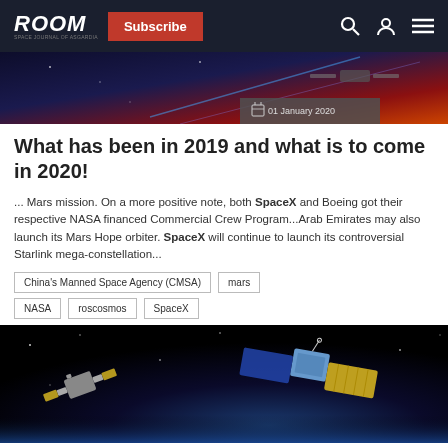ROOM | Subscribe | Navigation
[Figure (photo): Top portion of space/satellite hero image with dark background showing laser/satellite imagery, with a date badge showing 01 January 2020]
What has been in 2019 and what is to come in 2020!
... Mars mission. On a more positive note, both SpaceX and Boeing got their respective NASA financed Commercial Crew Program...Arab Emirates may also launch its Mars Hope orbiter. SpaceX will continue to launch its controversial Starlink mega-constellation...
China's Manned Space Agency (CMSA)
mars
NASA
roscosmos
SpaceX
[Figure (photo): Space scene showing two satellites in orbit against a dark space background with Earth's blue atmosphere glow visible at the bottom edge]